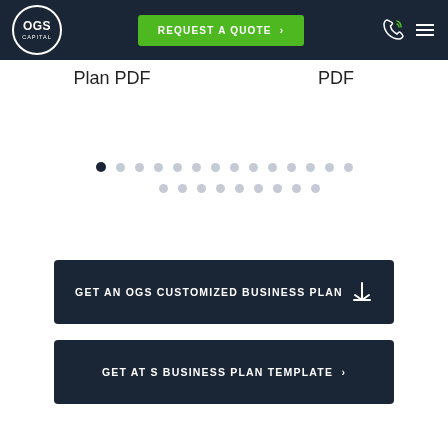OGS CAPITAL | REQUEST A QUOTE
Plan PDF
PDF
[Figure (other): Carousel pagination dots — one filled dark dot followed by many light grey dots in two rows]
GET AN OGS CUSTOMIZED BUSINESS PLAN
GET AT S BUSINESS PLAN TEMPLATE